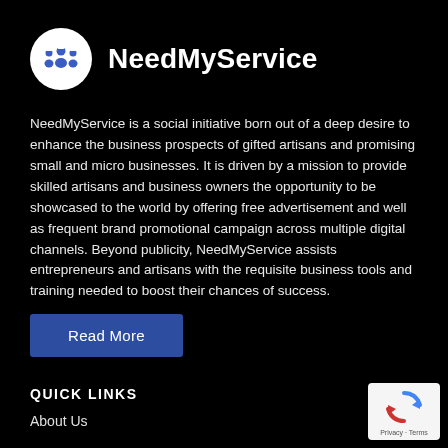[Figure (logo): NeedMyService logo: white circle with stylized figures/workers icon in blue and white, followed by brand name 'NeedMyService' in white bold text]
NeedMyService is a social initiative born out of a deep desire to enhance the business prospects of gifted artisans and promising small and micro businesses. It is driven by a mission to provide skilled artisans and business owners the opportunity to be showcased to the world by offering free advertisement and well as frequent brand promotional campaign across multiple digital channels. Beyond publicity, NeedMyService assists entrepreneurs and artisans with the requisite business tools and training needed to boost their chances of success.
Read More
QUICK LINKS
About Us
[Figure (logo): Google reCAPTCHA badge with spinning arrows logo and 'Privacy · Terms' text]